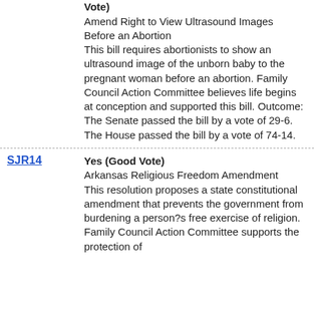Vote)
Amend Right to View Ultrasound Images Before an Abortion
This bill requires abortionists to show an ultrasound image of the unborn baby to the pregnant woman before an abortion. Family Council Action Committee believes life begins at conception and supported this bill. Outcome: The Senate passed the bill by a vote of 29-6. The House passed the bill by a vote of 74-14.
SJR14
Yes (Good Vote)
Arkansas Religious Freedom Amendment
This resolution proposes a state constitutional amendment that prevents the government from burdening a person?s free exercise of religion. Family Council Action Committee supports the protection of